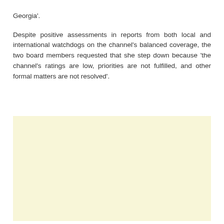Georgia'.
Despite positive assessments in reports from both local and international watchdogs on the channel's balanced coverage, the two board members requested that she step down because 'the channel's ratings are low, priorities are not fulfilled, and other formal matters are not resolved'.
[Figure (other): Light yellow/cream colored rectangular box, appears to be a placeholder or image area]